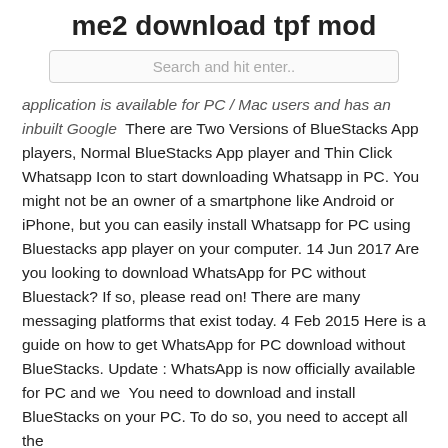me2 download tpf mod
[Figure (screenshot): Search bar with placeholder text 'Search and hit enter..']
application is available for PC / Mac users and has an inbuilt Google  There are Two Versions of BlueStacks App players, Normal BlueStacks App player and Thin Click Whatsapp Icon to start downloading Whatsapp in PC. You might not be an owner of a smartphone like Android or iPhone, but you can easily install Whatsapp for PC using Bluestacks app player on your computer. 14 Jun 2017 Are you looking to download WhatsApp for PC without Bluestack? If so, please read on! There are many messaging platforms that exist today. 4 Feb 2015 Here is a guide on how to get WhatsApp for PC download without BlueStacks. Update : WhatsApp is now officially available for PC and we  You need to download and install BlueStacks on your PC. To do so, you need to accept all the
tweakbox対応iOS 12以降のおすすめアプリ紹介
荒野4 PCのおすすめアプリ紹介
Androidのおすすめアプリ紹介アプリの使い方まとめ
おすすめアプリPDF変換アプリ